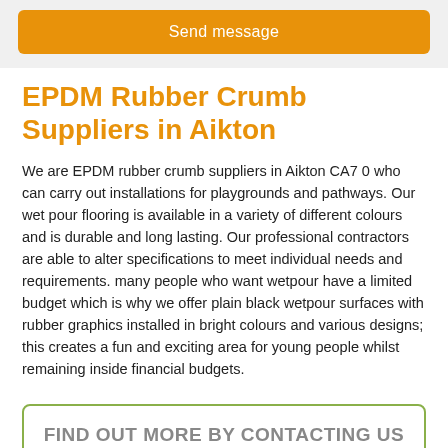Send message
EPDM Rubber Crumb Suppliers in Aikton
We are EPDM rubber crumb suppliers in Aikton CA7 0 who can carry out installations for playgrounds and pathways. Our wet pour flooring is available in a variety of different colours and is durable and long lasting. Our professional contractors are able to alter specifications to meet individual needs and requirements. many people who want wetpour have a limited budget which is why we offer plain black wetpour surfaces with rubber graphics installed in bright colours and various designs; this creates a fun and exciting area for young people whilst remaining inside financial budgets.
FIND OUT MORE BY CONTACTING US